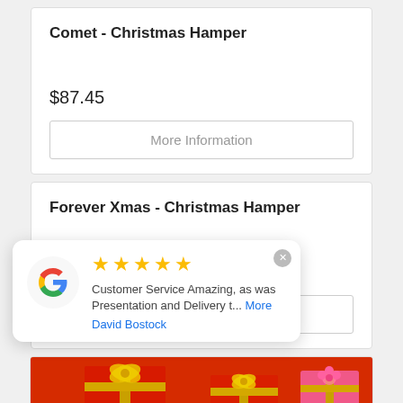Comet - Christmas Hamper
$87.45
More Information
Forever Xmas - Christmas Hamper
$85.50
More Information
Customer Service Amazing, as was Presentation and Delivery t... More
David Bostock
[Figure (photo): Red Christmas gift boxes with gold ribbons at the bottom of the page]